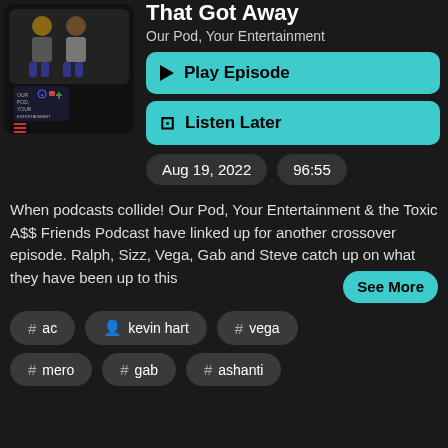[Figure (illustration): Podcast artwork showing cartoon characters and 'Our Pod, Your Entertainment' logo on dark background]
That Got Away
Our Pod, Your Entertainment
▶ Play Episode
🔖 Listen Later
Aug 19, 2022
96:55
When podcasts collide! Our Pod, Your Entertainment & the Toxic A$$ Friends Podcast have linked up for another crossover episode. Ralph, Sizz, Vega, Gab and Steve catch up on what they have been up to this
See More
# ac
🧑 kevin hart
# vega
# mero
# gab
# ashanti